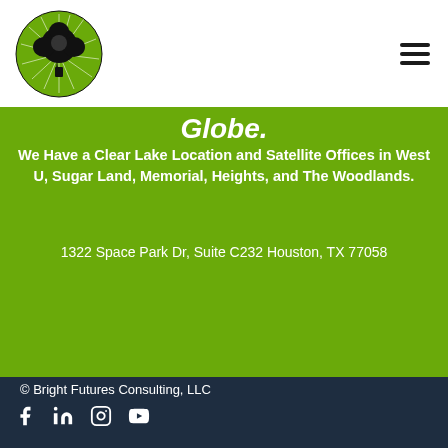[Figure (logo): Bright Futures Consulting circular logo with a green tree and radiating white lines, black and green color scheme, text around circle border reading BRIGHT FUTURES CONSULTING]
Globe.
We Have a Clear Lake Location and Satellite Offices in West U, Sugar Land, Memorial, Heights, and The Woodlands.
1322 Space Park Dr, Suite C232 Houston, TX 77058
© Bright Futures Consulting, LLC